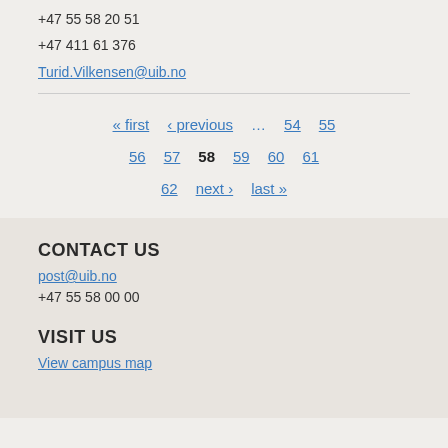+47 55 58 20 51
+47 411 61 376
Turid.Vilkensen@uib.no
« first ‹ previous … 54 55 56 57 58 59 60 61 62 next › last »
CONTACT US
post@uib.no
+47 55 58 00 00
VISIT US
View campus map